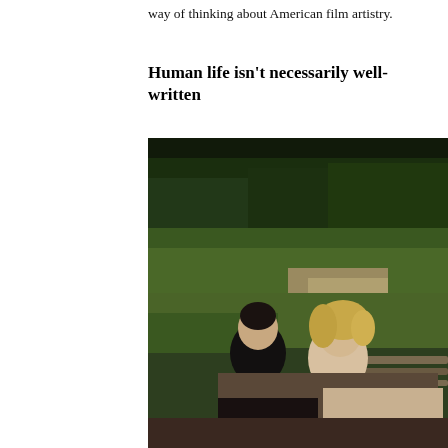way of thinking about American film artistry.
Human life isn't necessarily well-written
[Figure (photo): A man and a woman sitting on a park bench outdoors, laughing together. The man has dark hair and is wearing a black shirt. The woman has curly blonde hair and is wearing a light-colored top. The background shows green grass and trees in a park setting. The photo appears to be from the 1980s or early 1990s.]